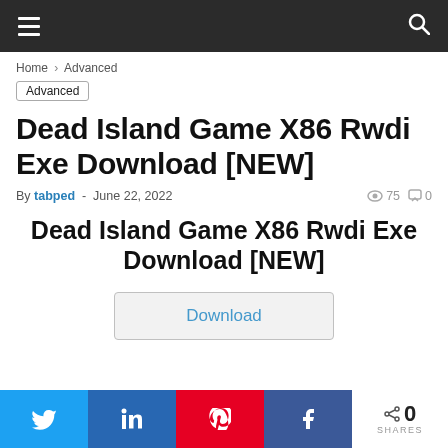Navigation bar with hamburger menu and search icon
Home > Advanced
Advanced
Dead Island Game X86 Rwdi Exe Download [NEW]
By tabped - June 22, 2022  75  0
Dead Island Game X86 Rwdi Exe Download [NEW]
Download
Share buttons: Twitter, LinkedIn, Pinterest, Facebook. 0 SHARES